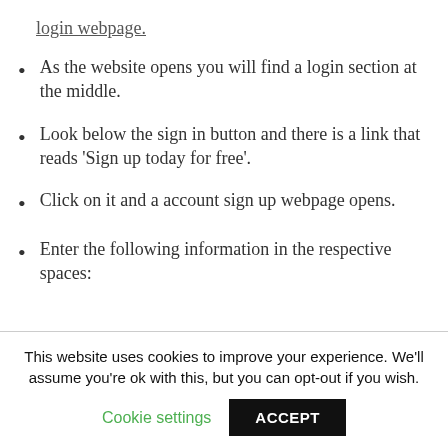login webpage.
As the website opens you will find a login section at the middle.
Look below the sign in button and there is a link that reads 'Sign up today for free'.
Click on it and a account sign up webpage opens.
Enter the following information in the respective spaces:
This website uses cookies to improve your experience. We'll assume you're ok with this, but you can opt-out if you wish. Cookie settings ACCEPT